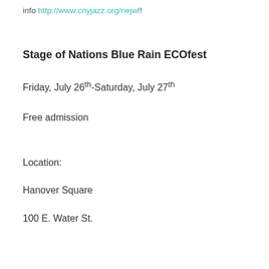info http://www.cnyjazz.org/nejwf!
Stage of Nations Blue Rain ECOfest
Friday, July 26th-Saturday, July 27th
Free admission
Location:
Hanover Square
100 E. Water St.